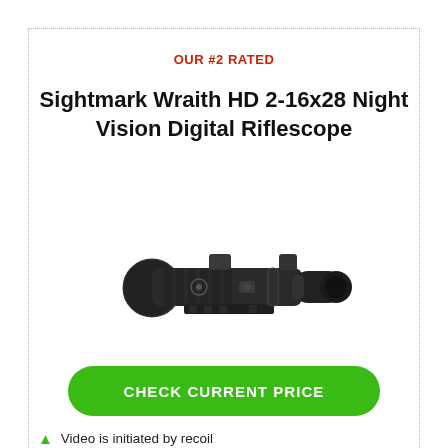OUR #2 RATED
Sightmark Wraith HD 2-16x28 Night Vision Digital Riflescope
[Figure (photo): Photo of a Sightmark Wraith HD 2-16x28 Night Vision Digital Riflescope, shown at an angle, all-black body with lens cap and adjustment turrets visible.]
CHECK CURRENT PRICE
Video is initiated by recoil